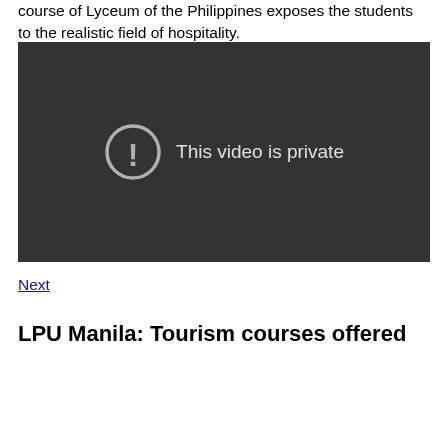course of Lyceum of the Philippines exposes the students to the realistic field of hospitality.
[Figure (screenshot): Embedded video player showing a dark background with a circle exclamation icon and the message 'This video is private']
Next
LPU Manila: Tourism courses offered